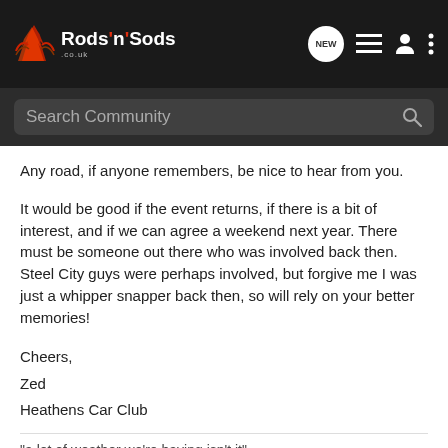Rods 'n' Sods - Search Community
Any road, if anyone remembers, be nice to hear from you.

It would be good if the event returns, if there is a bit of interest, and if we can agree a weekend next year. There must be someone out there who was involved back then. Steel City guys were perhaps involved, but forgive me I was just a whipper snapper back then, so will rely on your better memories!
Cheers,
Zed
Heathens Car Club
"a lot of weather we're having isn't it"